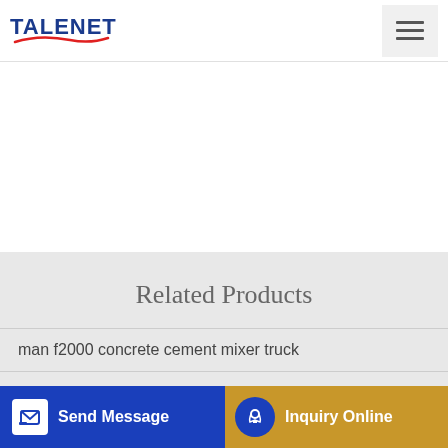TALENET
Related Products
man f2000 concrete cement mixer truck
jzc400 self loading drum concrete mixer concrete mixing
custom if batching plant
[Figure (other): Send Message button with icon on blue background]
[Figure (other): Inquiry Online button with headset icon on gold/amber background]